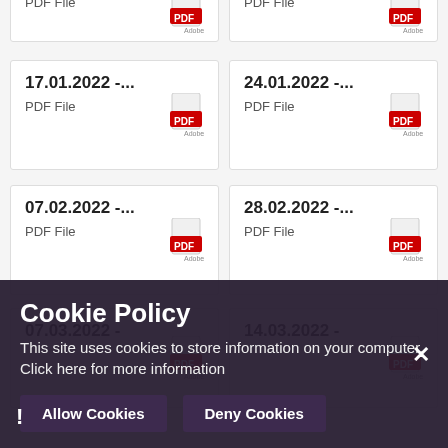[Figure (screenshot): Partially visible top row with two PDF file cards showing truncated titles and PDF icons]
17.01.2022 -...
PDF File
24.01.2022 -...
PDF File
07.02.2022 -...
PDF File
28.02.2022 -...
PDF File
07.03.2022 -
14.03.2022 -
Cookie Policy
This site uses cookies to store information on your computer. Click here for more information
Allow Cookies
Deny Cookies